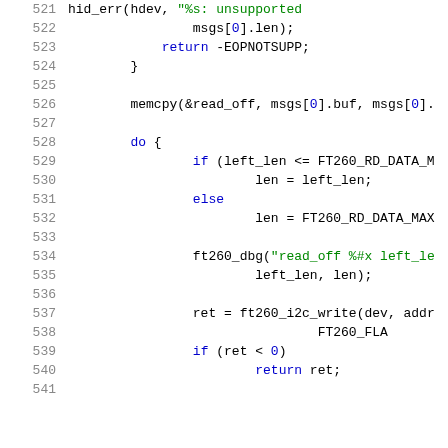[Figure (screenshot): Source code listing showing lines 521-541 of a C kernel driver file involving HID/I2C communication with FT260 device. Code includes error handling, memcpy, do-loop, conditional checks, and function calls like hid_err, ft260_dbg, ft260_i2c_write.]